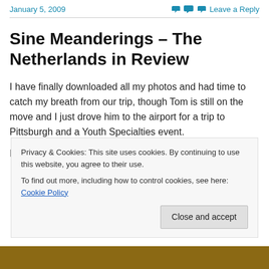January 5, 2009    Leave a Reply
Sine Meanderings – The Netherlands in Review
I have finally downloaded all my photos and had time to catch my breath from our trip, though Tom is still on the move and I just drove him to the airport for a trip to Pittsburgh and a Youth Specialties event.
It was great to be able to take this trip together. Tom's
Privacy & Cookies: This site uses cookies. By continuing to use this website, you agree to their use.
To find out more, including how to control cookies, see here: Cookie Policy
[Figure (photo): Brown/tan colored partial image at the bottom of the page, likely a photo from the Netherlands trip]